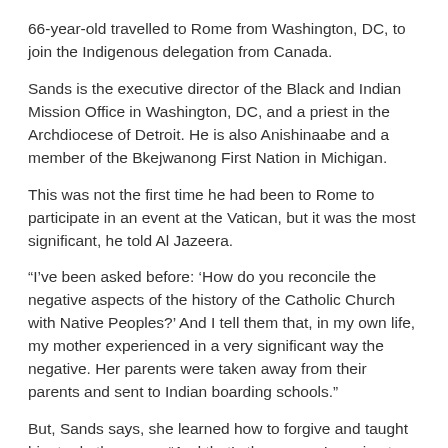66-year-old travelled to Rome from Washington, DC, to join the Indigenous delegation from Canada.
Sands is the executive director of the Black and Indian Mission Office in Washington, DC, and a priest in the Archdiocese of Detroit. He is also Anishinaabe and a member of the Bkejwanong First Nation in Michigan.
This was not the first time he had been to Rome to participate in an event at the Vatican, but it was the most significant, he told Al Jazeera.
“I’ve been asked before: ‘How do you reconcile the negative aspects of the history of the Catholic Church with Native Peoples?’ And I tell them that, in my own life, my mother experienced in a very significant way the negative. Her parents were taken away from their parents and sent to Indian boarding schools.”
But, Sands says, she learned how to forgive and taught him to do the same. “And that’s the way we’re going to be able to heal,” he says.